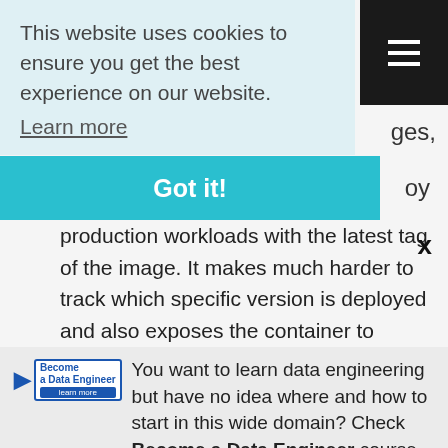...iting.of...(code)
This website uses cookies to ensure you get the best experience on our website. Learn more
Got it!
ges,
oy
x
production workloads with the latest tag of the image. It makes much harder to track which specific version is deployed and also exposes the container to unpredictable
You want to learn data engineering but have no idea where and how to start in this wide domain? Check Become a Data Engineer course, it can help you 🙂
🔘 Join the class!